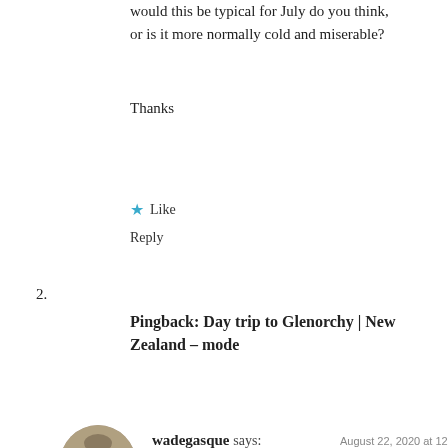would this be typical for July do you think, or is it more normally cold and miserable?
Thanks
★ Like
Reply
2.
Pingback: Day trip to Glenorchy | New Zealand – mode
[Figure (photo): Avatar photo of commenter wadegasque, circular crop showing a person outdoors]
wadegasque says: August 22, 2020 at 12:26 pm
Gorgeous photos.
Advertisements
[Figure (screenshot): Jetpack advertisement banner with green background, Jetpack logo on left, and 'Back up your site' button on right]